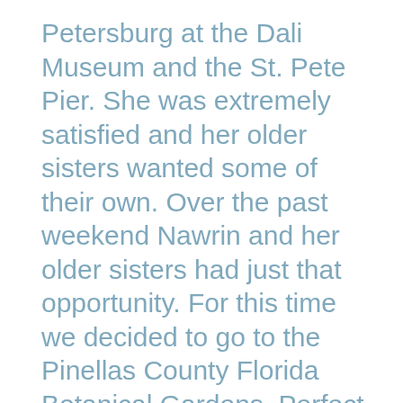Petersburg at the Dali Museum and the St. Pete Pier. She was extremely satisfied and her older sisters wanted some of their own. Over the past weekend Nawrin and her older sisters had just that opportunity. For this time we decided to go to the Pinellas County Florida Botanical Gardens. Perfect timing because spring was just a few days away and the flowers were in bloom. Though I would say there is not a bad time there as the gardens always look beautiful.

Because all the three sisters were there, they said it would be a perfect...